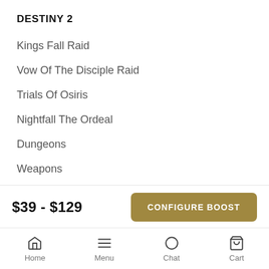DESTINY 2
Kings Fall Raid
Vow Of The Disciple Raid
Trials Of Osiris
Nightfall The Ordeal
Dungeons
Weapons
Bundles
OTHER GAMES
$39 - $129
Home   Menu   Chat   Cart